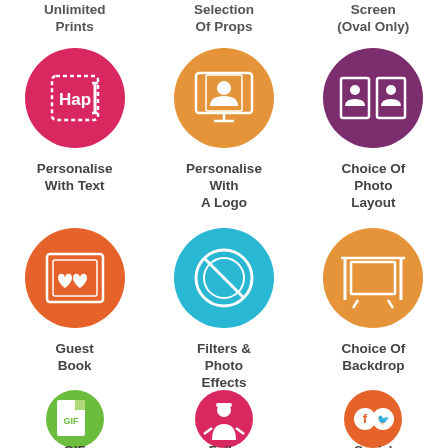Unlimited Prints
Selection Of Props
Screen (Oval Only)
[Figure (illustration): Pink/red circle icon with text cursor and 'Hap' text — Personalise With Text]
Personalise With Text
[Figure (illustration): Orange circle icon with photo/frame symbol — Personalise With A Logo]
Personalise With A Logo
[Figure (illustration): Purple circle icon with open book/photo layout — Choice Of Photo Layout]
Choice Of Photo Layout
[Figure (illustration): Orange circle icon with heart/frame — Guest Book]
Guest Book
[Figure (illustration): Blue circle icon with filter/lens symbol — Filters & Photo Effects]
Filters & Photo Effects
[Figure (illustration): Orange/gold circle icon with backdrop symbol — Choice Of Backdrop]
Choice Of Backdrop
[Figure (illustration): Green circle icon with GIF document symbol]
GIF
[Figure (illustration): Pink circle icon with staff/person symbol — Fully Staffed]
Fully
[Figure (illustration): Orange circle icon with Facebook and Twitter logos — Social Media]
Social